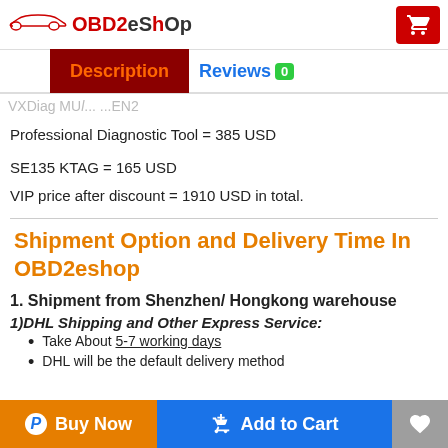OBD2eShOp [logo + cart button]
Description | Reviews 0
VXDiag MUL... ...EN2
Professional Diagnostic Tool  = 385 USD
SE135 KTAG  = 165 USD
VIP price after discount = 1910 USD in total.
Shipment Option and Delivery Time In OBD2eshop
1. Shipment from Shenzhen/ Hongkong warehouse
1)DHL Shipping and Other Express Service:
Take About 5-7 working days
DHL will be the default delivery method